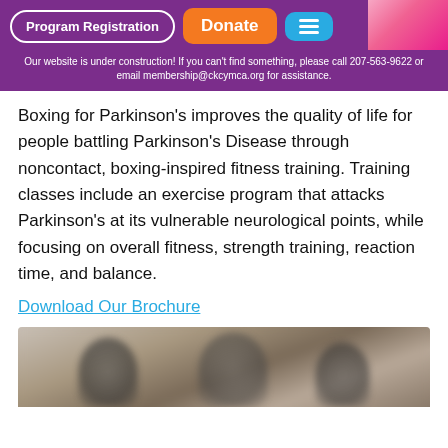Program Registration | Donate | [menu] | Our website is under construction! If you can't find something, please call 207-563-9622 or email membership@ckcymca.org for assistance.
Boxing for Parkinson’s improves the quality of life for people battling Parkinson’s Disease through noncontact, boxing-inspired fitness training. Training classes include an exercise program that attacks Parkinson’s at its vulnerable neurological points, while focusing on overall fitness, strength training, reaction time, and balance.
Download Our Brochure
[Figure (photo): Blurred photo of people at a boxing for Parkinson's fitness class]